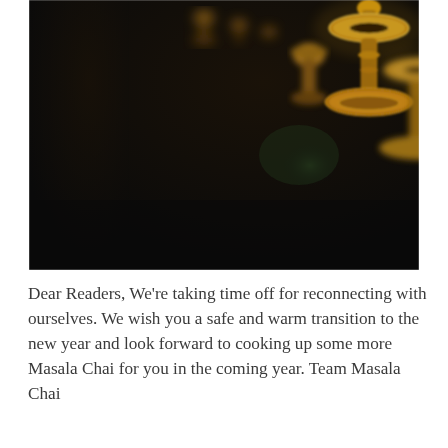[Figure (photo): Close-up photograph of a row of golden brass oil lamps or diyas arranged in a line, shot at a shallow depth of field against a dark blurred background with a hint of green foliage.]
Dear Readers, We're taking time off for reconnecting with ourselves. We wish you a safe and warm transition to the new year and look forward to cooking up some more Masala Chai for you in the coming year. Team Masala Chai